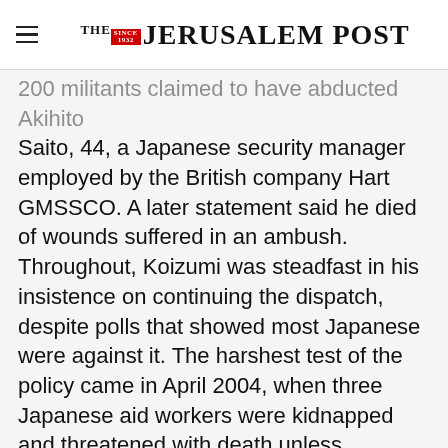THE JERUSALEM POST
200 militants claimed to have abducted Akihito Saito, 44, a Japanese security manager employed by the British company Hart GMSSCO. A later statement said he died of wounds suffered in an ambush. Throughout, Koizumi was steadfast in his insistence on continuing the dispatch, despite polls that showed most Japanese were against it. The harshest test of the policy came in April 2004, when three Japanese aid workers were kidnapped and threatened with death unless
Advertisement